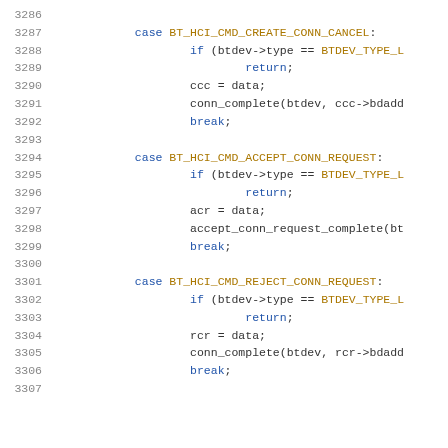Source code listing, lines 3286-3307, showing switch-case blocks for BT_HCI_CMD_CREATE_CONN_CANCEL, BT_HCI_CMD_ACCEPT_CONN_REQUEST, and BT_HCI_CMD_REJECT_CONN_REQUEST